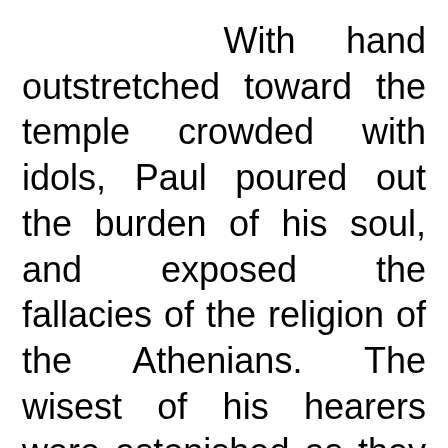With hand outstretched toward the temple crowded with idols, Paul poured out the burden of his soul, and exposed the fallacies of the religion of the Athenians. The wisest of his hearers were astonished as they listened to his reasoning. He showed himself familiar with their works of art, their literature, and their religion. Pointing to their statuary and idols,